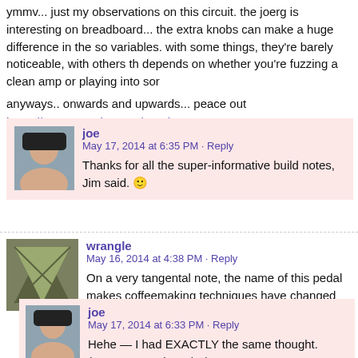ymmv... just my observations on this circuit. the joerg is interesting on breadboard... the extra knobs can make a huge difference in the sound variables. with some things, they're barely noticeable, with others that depends on whether you're fuzzing a clean amp or playing into som
anyways.. onwards and upwards... peace out
https://www.youtube.com/watch?v=s9xZSEsMxzY
joe
May 17, 2014 at 6:35 PM · Reply
Thanks for all the super-informative build notes, Jim said. 🙂
wrangle
May 16, 2014 at 4:38 PM · Reply
On a very tangental note, the name of this pedal makes coffeemaking techniques have changed since the 70s. recent times, would it have been dubbed the Harmonic French Pres
joe
May 17, 2014 at 6:33 PM · Reply
Hehe — I had EXACTLY the same thought. (Does a percolator is?)